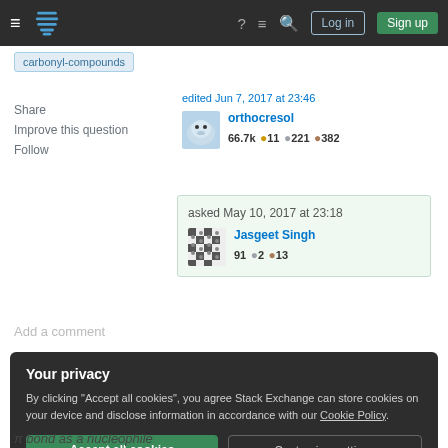Stack Exchange navigation bar with Log in and Sign up buttons
carbonyl-compounds
Share
Improve this question
Follow
edited Jun 7, 2017 at 23:46
orthocresol
66.7k 🔥 11 🥈 221 🥉 382
asked May 10, 2017 at 23:18
Jasgeet Singh
91 🥈 2 🥉 13
Add a comment
Your privacy
By clicking "Accept all cookies", you agree Stack Exchange can store cookies on your device and disclose information in accordance with our Cookie Policy.
Accept all cookies
Customize settings
π bond as a nucleophile